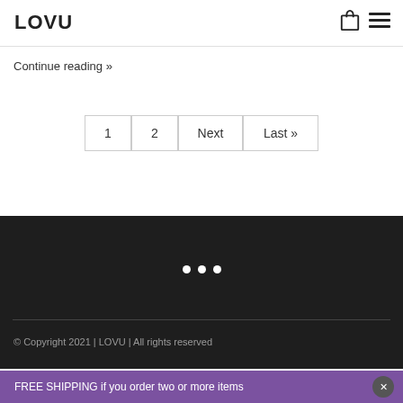LOVU
Continue reading »
1  2  Next  Last »
[Figure (other): Three white loading dots on dark background]
© Copyright 2021 | LOVU | All rights reserved
FREE SHIPPING if you order two or more items